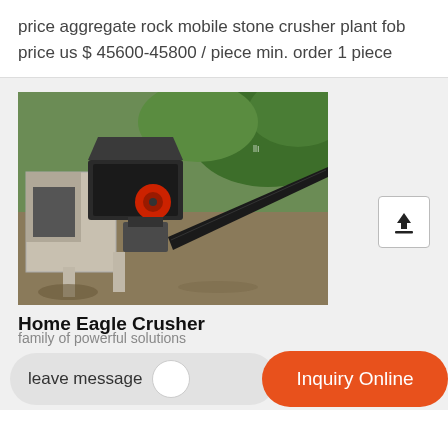price aggregate rock mobile stone crusher plant fob price us $ 45600-45800 / piece min. order 1 piece
[Figure (photo): Aerial view of a mobile stone crusher plant with a jaw crusher on a concrete platform and a conveyor belt extending diagonally to the right, surrounded by green vegetation and dirt ground.]
Home Eagle Crusher
family of powerful solutions